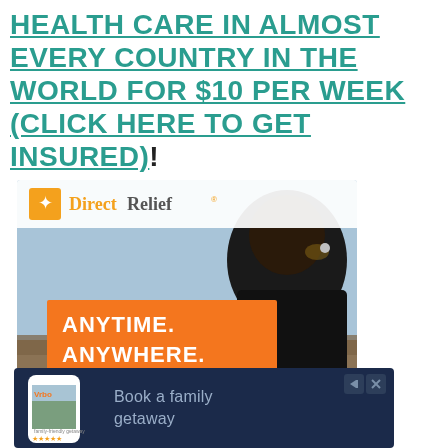HEALTH CARE IN ALMOST EVERY COUNTRY IN THE WORLD FOR $10 PER WEEK (CLICK HERE TO GET INSURED)!
[Figure (photo): Direct Relief advertisement banner showing a person viewed from behind overlooking a landscape, with orange text block reading 'ANYTIME. ANYWHERE. ANYONE IN NEED.' and the Direct Relief logo.]
[Figure (photo): Vrbo advertisement on dark navy background showing a smartphone with a family getaway listing and the text 'Book a family getaway'.]